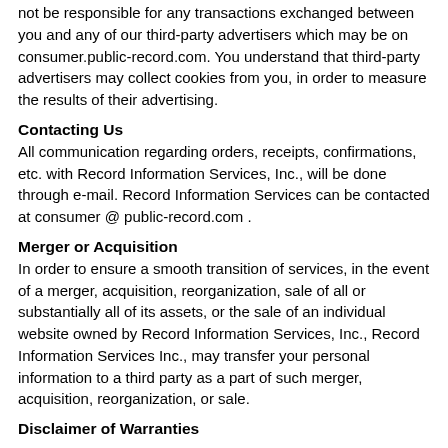not be responsible for any transactions exchanged between you and any of our third-party advertisers which may be on consumer.public-record.com. You understand that third-party advertisers may collect cookies from you, in order to measure the results of their advertising.
Contacting Us
All communication regarding orders, receipts, confirmations, etc. with Record Information Services, Inc., will be done through e-mail. Record Information Services can be contacted at consumer @ public-record.com .
Merger or Acquisition
In order to ensure a smooth transition of services, in the event of a merger, acquisition, reorganization, sale of all or substantially all of its assets, or the sale of an individual website owned by Record Information Services, Inc., Record Information Services Inc., may transfer your personal information to a third party as a part of such merger, acquisition, reorganization, or sale.
Disclaimer of Warranties
RECORD INFORMATION SERVICES, INC., UNDER NO CIRCUMSTANCES, WILL BE HELD LIABLE TO YOU OR ANY OTHER THIRD PARTIES, FOR ANY DAMAGES IMPOSED